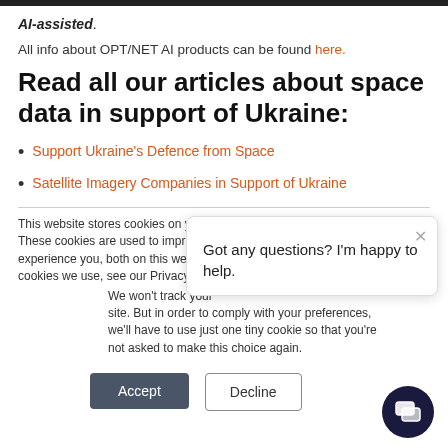AI-assisted.
All info about OPT/NET AI products can be found here.
Read all our articles about space data in support of Ukraine:
Support Ukraine's Defence from Space
Satellite Imagery Companies in Support of Ukraine
This website stores cookies on your computer. These cookies are used to improve your website experience you, both on this website and through cookies we use, see our Privacy P...
Got any questions? I'm happy to help.
We won't track your site. But in order to comply with your preferences, we'll have to use just one tiny cookie so that you're not asked to make this choice again.
Accept
Decline